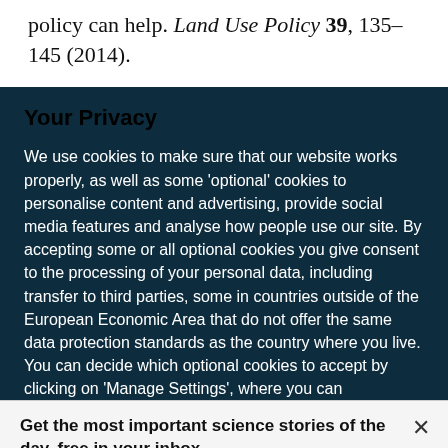policy can help. Land Use Policy 39, 135–145 (2014).
Your Privacy
We use cookies to make sure that our website works properly, as well as some 'optional' cookies to personalise content and advertising, provide social media features and analyse how people use our site. By accepting some or all optional cookies you give consent to the processing of your personal data, including transfer to third parties, some in countries outside of the European Economic Area that do not offer the same data protection standards as the country where you live. You can decide which optional cookies to accept by clicking on 'Manage Settings', where you can
Get the most important science stories of the day, free in your inbox.
Sign up for Nature Briefing